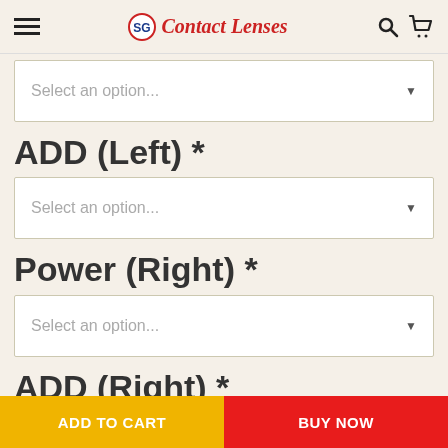Contact Lenses
ADD (Left) *
Select an option... (dropdown for ADD Left)
ADD (Left) *
Select an option... (dropdown for ADD Left second)
Power (Right) *
Select an option... (dropdown for Power Right)
ADD (Right) *
ADD TO CART | BUY NOW